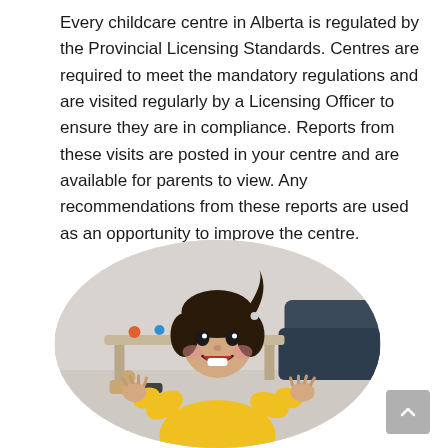Every childcare centre in Alberta is regulated by the Provincial Licensing Standards. Centres are required to meet the mandatory regulations and are visited regularly by a Licensing Officer to ensure they are in compliance. Reports from these visits are posted in your centre and are available for parents to view. Any recommendations from these reports are used as an opportunity to improve the centre.
[Figure (photo): A young child with dark hair in a yellow top, smiling and clapping hands in a childcare setting with toys and furniture visible in the background. Photo is cropped in an oval/rounded shape.]